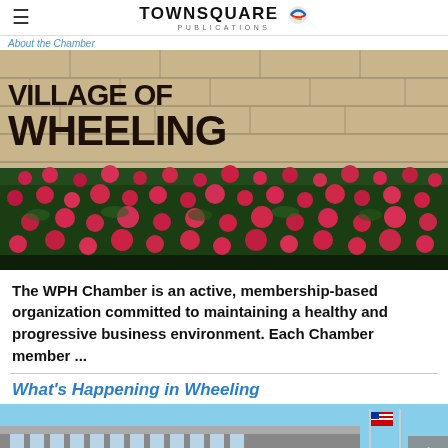About the Chamber — TOWNSQUARE PUBLICATIONS
[Figure (photo): Village of Wheeling sign on a stone wall with red flowers in the foreground]
The WPH Chamber is an active, membership-based organization committed to maintaining a healthy and progressive business environment. Each Chamber member ...
What's Happening in Wheeling
[Figure (photo): Partial view of a building exterior with blue sky and an American flag]